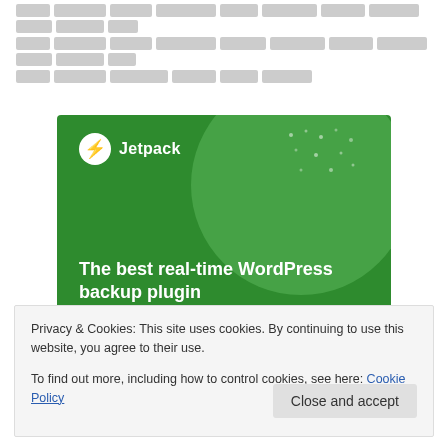[redacted text lines]
[Figure (illustration): Jetpack WordPress plugin advertisement banner with green background, Jetpack logo, and text 'The best real-time WordPress backup plugin']
Privacy & Cookies: This site uses cookies. By continuing to use this website, you agree to their use.
To find out more, including how to control cookies, see here: Cookie Policy
Close and accept